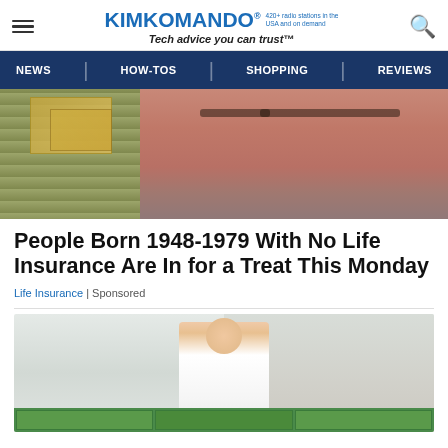KIMKOMANDO® 420+ radio stations in the USA and on demand — Tech advice you can trust™
[Figure (screenshot): Navigation bar with NEWS, HOW-TOS, SHOPPING, REVIEWS on dark blue background]
[Figure (photo): Close-up photo of an older man with glasses and grey beard, with money/cash visible on the left side]
People Born 1948-1979 With No Life Insurance Are In for a Treat This Monday
Life Insurance | Sponsored
[Figure (photo): Woman in white outfit smiling, with green boxes/packages at the bottom of the image]